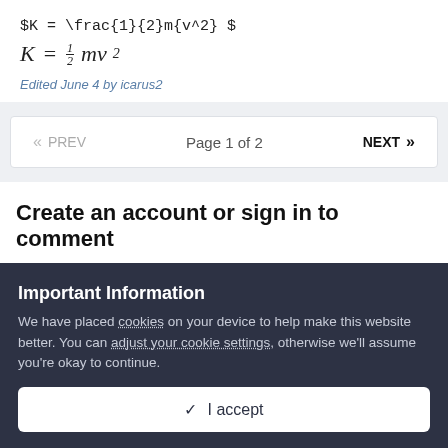$K = \frac{1}{2}m{v^2} $
Edited June 4 by icarus2
« PREV   Page 1 of 2   NEXT »
Create an account or sign in to comment
You need to be a member in order to leave a comment
Important Information
We have placed cookies on your device to help make this website better. You can adjust your cookie settings, otherwise we'll assume you're okay to continue.
✓  I accept